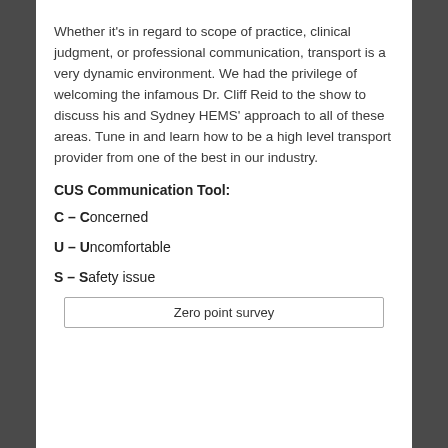Whether it's in regard to scope of practice, clinical judgment, or professional communication, transport is a very dynamic environment. We had the privilege of welcoming the infamous Dr. Cliff Reid to the show to discuss his and Sydney HEMS' approach to all of these areas. Tune in and learn how to be a high level transport provider from one of the best in our industry.
CUS Communication Tool:
C – Concerned
U – Uncomfortable
S – Safety issue
Zero point survey